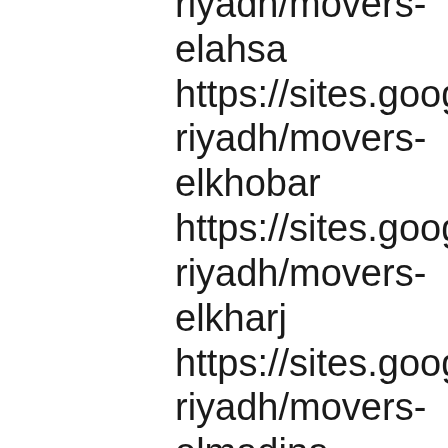riyadh/movers-elahsa https://sites.google.com/riyadh/movers-elkhobar https://sites.google.com/riyadh/movers-elkharj https://sites.google.com/riyadh/movers-elmadina-elmnowara https://sites.google.com